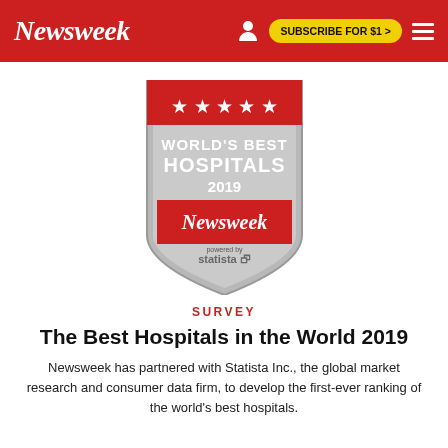Newsweek | SUBSCRIBE FOR $1 >
[Figure (logo): World's Best Hospitals 2019 badge — shield shape in grey with red star banner at top, red Newsweek banner in middle, and 'powered by statista' text at bottom]
SURVEY
The Best Hospitals in the World 2019
Newsweek has partnered with Statista Inc., the global market research and consumer data firm, to develop the first-ever ranking of the world's best hospitals.